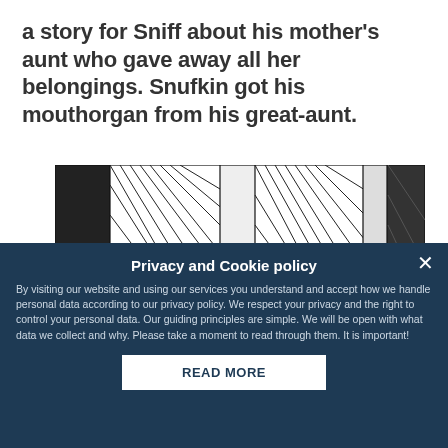a story for Sniff about his mother's aunt who gave away all her belongings. Snufkin got his mouthorgan from his great-aunt.
[Figure (illustration): Black and white pen-and-ink illustration showing heavy diagonal hatching forming draped curtains or fabric panels, with ornate decorative scrollwork at the bottom center and a small cartoon character (Moomintroll-like figure) visible at the bottom right.]
Privacy and Cookie policy
By visiting our website and using our services you understand and accept how we handle personal data according to our privacy policy. We respect your privacy and the right to control your personal data. Our guiding principles are simple. We will be open with what data we collect and why. Please take a moment to read through them. It is important!
READ MORE